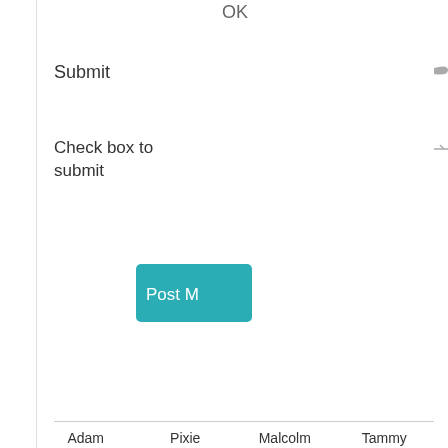OK
Submit
Check box to submit
[Figure (screenshot): A teal/cyan rounded rectangle button labeled 'Post M' (partially visible)]
Pennyblackmusic Regular Contributors
Adam   Pixie   Malcolm   Tammy